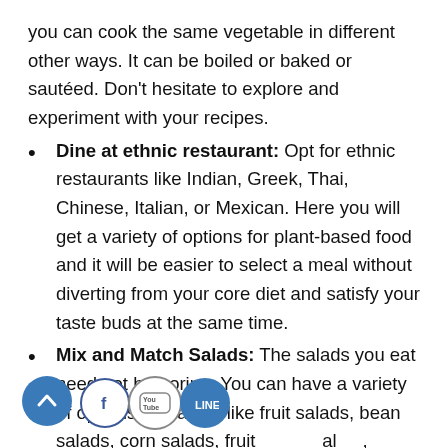you can cook the same vegetable in different other ways. It can be boiled or baked or sautéed. Don't hesitate to explore and experiment with your recipes.
Dine at ethnic restaurant: Opt for ethnic restaurants like Indian, Greek, Thai, Chinese, Italian, or Mexican. Here you will get a variety of options for plant-based food and it will be easier to select a meal without diverting from your core diet and satisfy your taste buds at the same time.
Mix and Match Salads: The salads you eat need not be boring. You can have a variety of options for salads like fruit salads, bean salads, corn salads, fruit mineral, garden salads, vegetable salads etc. You can also mix two or